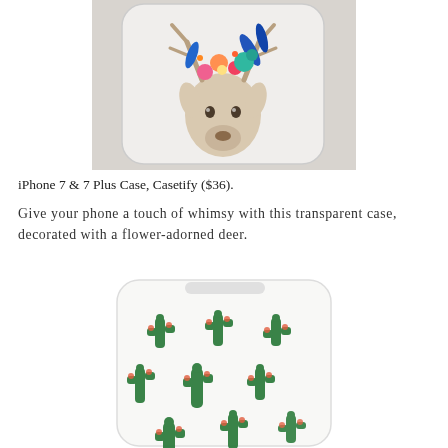[Figure (photo): iPhone case with a painted deer wearing a floral crown, colorful flowers and blue leaves, on a transparent/white case, placed on a gray surface.]
iPhone 7 & 7 Plus Case, Casetify ($36).
Give your phone a touch of whimsy with this transparent case, decorated with a flower-adorned deer.
[Figure (photo): White iPhone case covered in a repeating pattern of glittery green cactus illustrations with small red flowers.]